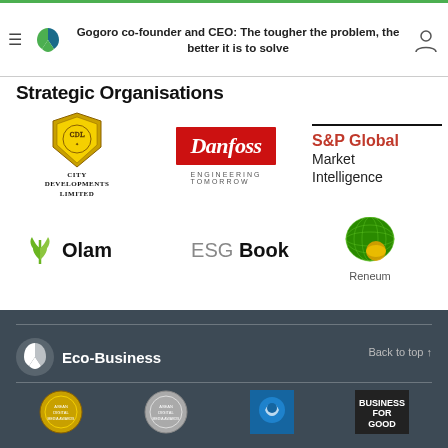Gogoro co-founder and CEO: The tougher the problem, the better it is to solve
Strategic Organisations
[Figure (logo): City Developments Limited logo - gold shield with ornate emblem and text CDL CITY DEVELOPMENTS LIMITED]
[Figure (logo): Danfoss logo - red rectangle with white cursive Danfoss text, ENGINEERING TOMORROW tagline below]
[Figure (logo): S&P Global Market Intelligence logo - black line above red S&P Global text and black Market Intelligence text]
[Figure (logo): Olam logo - green leaf/wheat symbol with Olam text in black]
[Figure (logo): ESG Book logo - ESG in grey, Book in black bold text]
[Figure (logo): Reneum logo - green sphere globe icon with Reneum text below in grey]
Eco-Business   Back to top ↑
[Figure (logo): ASEAN Digital Media Awards badge (gold) 2021]
[Figure (logo): ASEAN Digital Media Awards badge (silver) 2021]
[Figure (photo): Blue circular bird/crane logo image]
[Figure (logo): Business For Good logo - white text on dark background]